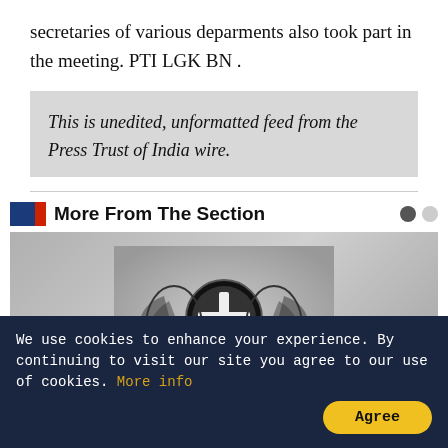secretaries of various deparments also took part in the meeting. PTI LGK BN .
This is unedited, unformatted feed from the Press Trust of India wire.
More From The Section
[Figure (photo): Black and white coat of arms / emblem image on grey background]
We use cookies to enhance your experience. By continuing to visit our site you agree to our use of cookies. More info